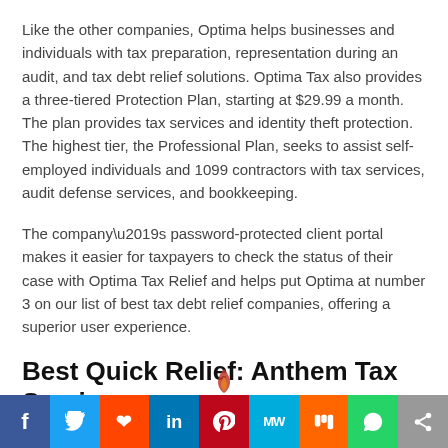Like the other companies, Optima helps businesses and individuals with tax preparation, representation during an audit, and tax debt relief solutions. Optima Tax also provides a three-tiered Protection Plan, starting at $29.99 a month. The plan provides tax services and identity theft protection. The highest tier, the Professional Plan, seeks to assist self-employed individuals and 1099 contractors with tax services, audit defense services, and bookkeeping.
The company’s password-protected client portal makes it easier for taxpayers to check the status of their case with Optima Tax Relief and helps put Optima at number 3 on our list of best tax debt relief companies, offering a superior user experience.
Best Quick Relief: Anthem Tax Services
[Figure (infographic): Social media sharing bar with icons for Facebook, Twitter, Reddit, LinkedIn, Pinterest, MixedVoices/MW, Mix, WhatsApp, and Share]